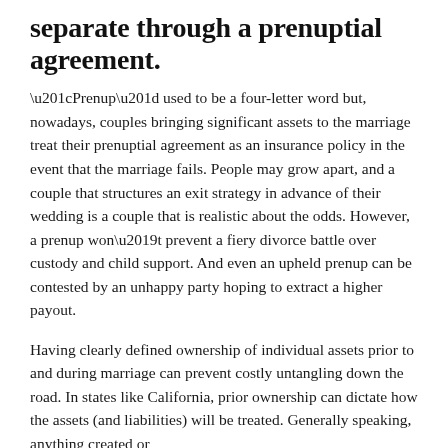separate through a prenuptial agreement.
“Prenup” used to be a four-letter word but, nowadays, couples bringing significant assets to the marriage treat their prenuptial agreement as an insurance policy in the event that the marriage fails. People may grow apart, and a couple that structures an exit strategy in advance of their wedding is a couple that is realistic about the odds. However, a prenup won’t prevent a fiery divorce battle over custody and child support. And even an upheld prenup can be contested by an unhappy party hoping to extract a higher payout.
Having clearly defined ownership of individual assets prior to and during marriage can prevent costly untangling down the road. In states like California, prior ownership can dictate how the assets (and liabilities) will be treated. Generally speaking, anything created or